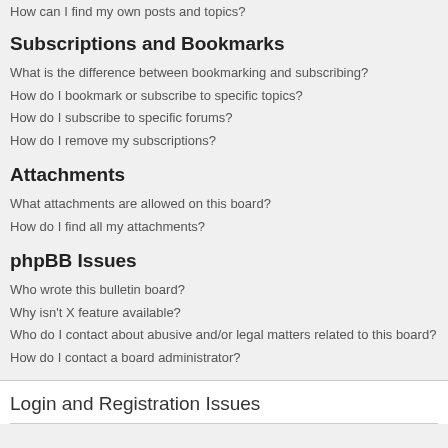How can I find my own posts and topics?
Subscriptions and Bookmarks
What is the difference between bookmarking and subscribing?
How do I bookmark or subscribe to specific topics?
How do I subscribe to specific forums?
How do I remove my subscriptions?
Attachments
What attachments are allowed on this board?
How do I find all my attachments?
phpBB Issues
Who wrote this bulletin board?
Why isn't X feature available?
Who do I contact about abusive and/or legal matters related to this board?
How do I contact a board administrator?
Login and Registration Issues